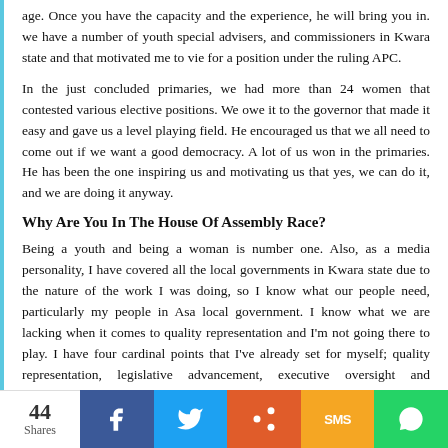age. Once you have the capacity and the experience, he will bring you in. we have a number of youth special advisers, and commissioners in Kwara state and that motivated me to vie for a position under the ruling APC.
In the just concluded primaries, we had more than 24 women that contested various elective positions. We owe it to the governor that made it easy and gave us a level playing field. He encouraged us that we all need to come out if we want a good democracy. A lot of us won in the primaries. He has been the one inspiring us and motivating us that yes, we can do it, and we are doing it anyway.
Why Are You In The House Of Assembly Race?
Being a youth and being a woman is number one. Also, as a media personality, I have covered all the local governments in Kwara state due to the nature of the work I was doing, so I know what our people need, particularly my people in Asa local government. I know what we are lacking when it comes to quality representation and I'm not going there to play. I have four cardinal points that I've already set for myself; quality representation, legislative advancement, executive oversight and constituency outreach. Let me touch on the constituency outreach part briefly, even though it is not the core responsibility of the legislative arm, it is a major focus for me because I know what our people need. If elected, I will facilitate some of those things to my constituency by Collet...
44 Shares | Facebook | Twitter | Share | SMS | WhatsApp